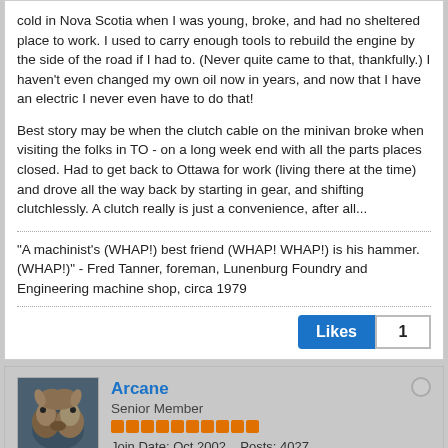cold in Nova Scotia when I was young, broke, and had no sheltered place to work. I used to carry enough tools to rebuild the engine by the side of the road if I had to. (Never quite came to that, thankfully.) I haven't even changed my own oil now in years, and now that I have an electric I never even have to do that!

Best story may be when the clutch cable on the minivan broke when visiting the folks in TO - on a long week end with all the parts places closed. Had to get back to Ottawa for work (living there at the time) and drove all the way back by starting in gear, and shifting clutchlessly. A clutch really is just a convenience, after all...
"A machinist's (WHAP!) best friend (WHAP! WHAP!) is his hammer. (WHAP!)" - Fred Tanner, foreman, Lunenburg Foundry and Engineering machine shop, circa 1979
Likes 1
Arcane
Senior Member
Join Date: Oct 2002   Posts: 4027
03-22-2021, 11:50 PM
#6762